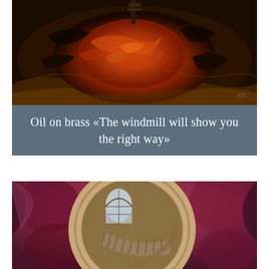[Figure (illustration): Oil painting showing a swirling, fiery circular composition with deep reds, oranges, blacks and golds. Abstract flame-like textures with a dark vertical element at top and artist monogram 'MY' visible in lower right.]
Oil on brass «The windmill will show you the right way»
[Figure (illustration): Oil painting depicting a large circular millstone or wheel within an ornate interior space. The wheel dominates the scene with a spiral staircase with balusters, arched window with light streaming in, and richly textured walls in shades of red, pink, mauve and gold.]